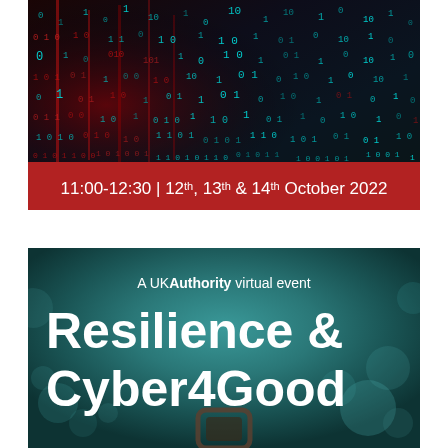[Figure (photo): Dark matrix/binary code background image with red and cyan floating binary digits (0s and 1s) on dark background, with a red banner at the bottom showing event date and time]
11:00-12:30 | 12th, 13th & 14th October 2022
[Figure (photo): Teal/green bokeh background with white text reading 'A UKAuthority virtual event' and large bold text 'Resilience & Cyber4Good', with a fingerprint/lock scanner icon at the bottom]
A UKAuthority virtual event
Resilience & Cyber4Good